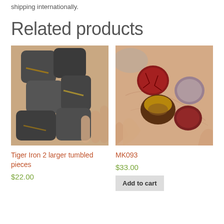shipping internationally.
Related products
[Figure (photo): Photograph of Tiger Iron 2 larger tumbled pieces – multiple metallic grey-brown polished stones held in a hand]
Tiger Iron 2 larger tumbled pieces
$22.00
[Figure (photo): Photograph of MK093 – four mixed small tumbled gemstones (red crackle, tiger eye, mauve) held in a palm]
MK093
$33.00
Add to cart